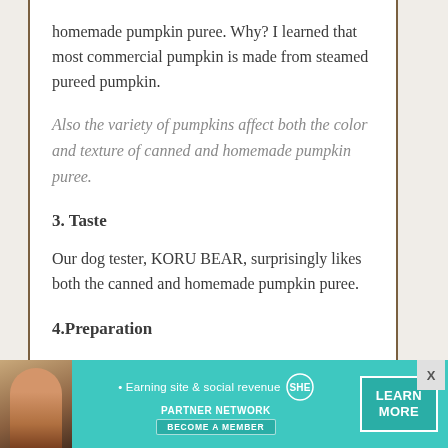homemade pumpkin puree. Why? I learned that most commercial pumpkin is made from steamed pureed pumpkin.
Also the variety of pumpkins affect both the color and texture of canned and homemade pumpkin puree.
3. Taste
Our dog tester, KORU BEAR, surprisingly likes both the canned and homemade pumpkin puree.
4.Preparation
It takes time to make a homemade dog pumpkin puree. Depending on the size of the pumpkin, baking time can take about 45-60
[Figure (infographic): SHE Partner Network advertisement banner with teal background, woman photo, tagline 'Earning site & social revenue', SHE logo, LEARN MORE button, and BECOME A MEMBER text]